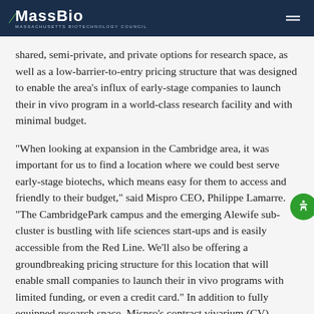MassBio — Massachusetts Biotechnology Council
shared, semi-private, and private options for research space, as well as a low-barrier-to-entry pricing structure that was designed to enable the area's influx of early-stage companies to launch their in vivo program in a world-class research facility and with minimal budget.
“When looking at expansion in the Cambridge area, it was important for us to find a location where we could best serve early-stage biotechs, which means easy for them to access and friendly to their budget,” said Mispro CEO, Philippe Lamarre. “The CambridgePark campus and the emerging Alewife sub-cluster is bustling with life sciences start-ups and is easily accessible from the Red Line. We’ll also be offering a groundbreaking pricing structure for this location that will enable small companies to launch their in vivo programs with limited funding, or even a credit card.” In addition to fully equipped research space, Mispro’s contract vivarium (CV) research environments include comprehensive services that are required for preclinical in